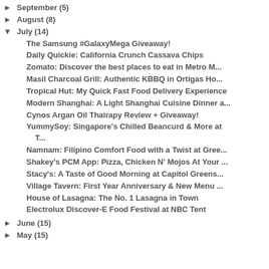► September (5)
► August (8)
▼ July (14)
The Samsung #GalaxyMega Giveaway!
Daily Quickie: California Crunch Cassava Chips
Zomato: Discover the best places to eat in Metro M...
Masil Charcoal Grill: Authentic KBBQ in Ortigas Ho...
Tropical Hut: My Quick Fast Food Delivery Experience
Modern Shanghai: A Light Shanghai Cuisine Dinner a...
Cynos Argan Oil Thairapy Review + Giveaway!
YummySoy: Singapore's Chilled Beancurd & More at T...
Namnam: Filipino Comfort Food with a Twist at Gree...
Shakey's PCM App: Pizza, Chicken N' Mojos At Your ...
Stacy's: A Taste of Good Morning at Capitol Greens...
Village Tavern: First Year Anniversary & New Menu ...
House of Lasagna: The No. 1 Lasagna in Town
Electrolux Discover-E Food Festival at NBC Tent
► June (15)
► May (15)